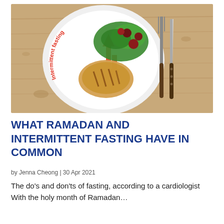[Figure (photo): Overhead photo of a white plate with grilled chicken and mixed salad (greens, cherry tomatoes), with red arrows and 'Intermittent fasting' text written on the plate rim. A fork and knife rest to the right on a wooden surface.]
WHAT RAMADAN AND INTERMITTENT FASTING HAVE IN COMMON
by Jenna Cheong | 30 Apr 2021
The do's and don'ts of fasting, according to a cardiologist With the holy month of Ramadan…